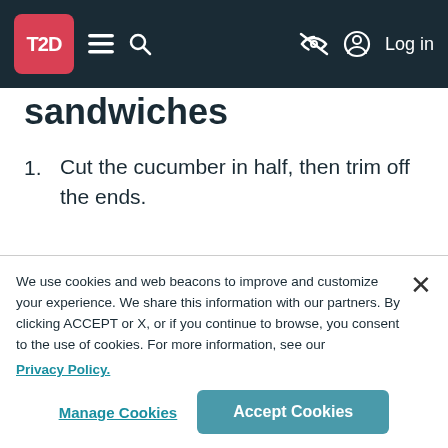T2D [navigation bar with menu, search, visibility off, log in]
sandwiches
Cut the cucumber in half, then trim off the ends.
Cut one side of the cucumber lengthwise so it will lie flat.
Slice 3 more slices lengthwise to get 4
We use cookies and web beacons to improve and customize your experience. We share this information with our partners. By clicking ACCEPT or X, or if you continue to browse, you consent to the use of cookies. For more information, see our Privacy Policy.
Manage Cookies | Accept Cookies